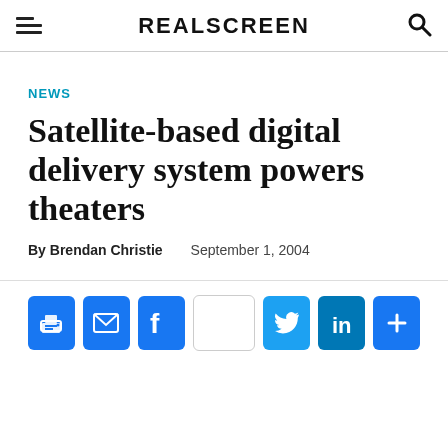REALSCREEN
NEWS
Satellite-based digital delivery system powers theaters
By Brendan Christie   September 1, 2004